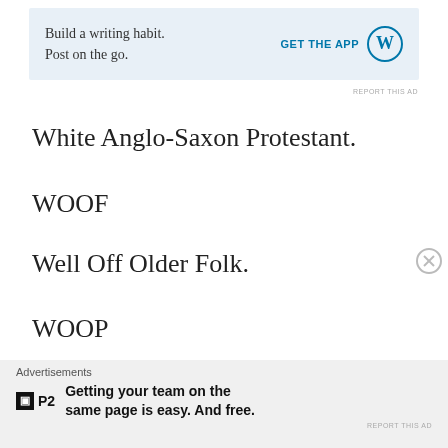[Figure (other): WordPress app advertisement banner: 'Build a writing habit. Post on the go.' with GET THE APP button and WordPress logo]
White Anglo-Saxon Protestant.
WOOF
Well Off Older Folk.
WOOP
Well Off Older Person.
[Figure (other): P2 advertisement footer: 'Getting your team on the same page is easy. And free.']